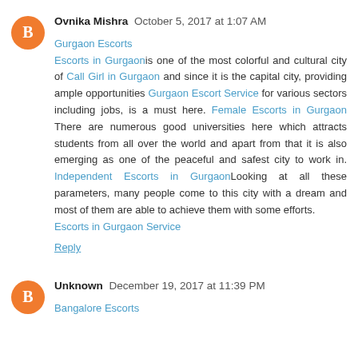Ovnika Mishra  October 5, 2017 at 1:07 AM
Gurgaon Escorts
Escorts in Gurgaon is one of the most colorful and cultural city of Call Girl in Gurgaon and since it is the capital city, providing ample opportunities Gurgaon Escort Service for various sectors including jobs, is a must here. Female Escorts in Gurgaon There are numerous good universities here which attracts students from all over the world and apart from that it is also emerging as one of the peaceful and safest city to work in. Independent Escorts in Gurgaon Looking at all these parameters, many people come to this city with a dream and most of them are able to achieve them with some efforts.
Escorts in Gurgaon Service
Reply
Unknown  December 19, 2017 at 11:39 PM
Bangalore Escorts